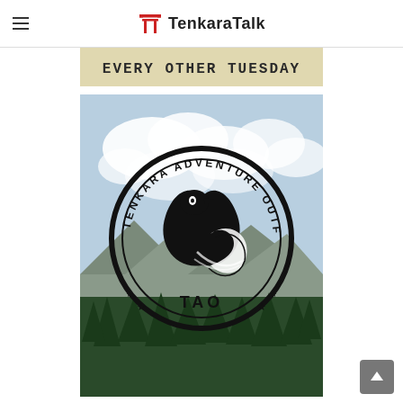TenkaraTalk
[Figure (logo): Banner image with bold text reading EVERY OTHER TUESDAY on a tan/beige background]
[Figure (logo): Tenkara Adventure Outfitters circular logo (TAO) showing a bird/eagle design in black and white, overlaid on a landscape photo with mountains, sky, and pine trees in the background]